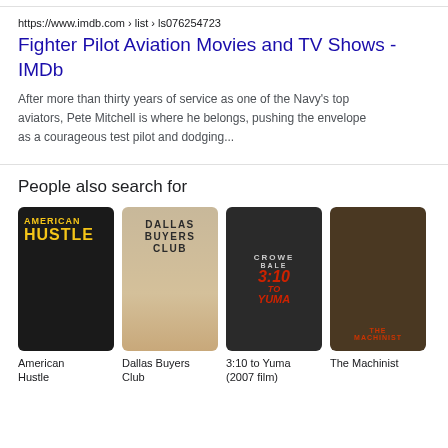https://www.imdb.com › list › ls076254723
Fighter Pilot Aviation Movies and TV Shows - IMDb
After more than thirty years of service as one of the Navy's top aviators, Pete Mitchell is where he belongs, pushing the envelope as a courageous test pilot and dodging...
People also search for
[Figure (photo): American Hustle movie poster - dark background with yellow text]
[Figure (photo): Dallas Buyers Club movie poster - tan/brown background with black text and figure]
[Figure (photo): 3:10 to Yuma movie poster - black and white with red text, cowboys with guns]
[Figure (photo): The Machinist movie poster - brown tones with figure]
American Hustle
Dallas Buyers Club
3:10 to Yuma (2007 film)
The Machinist